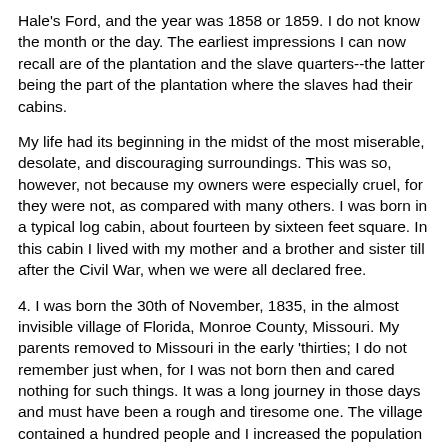Hale's Ford, and the year was 1858 or 1859. I do not know the month or the day. The earliest impressions I can now recall are of the plantation and the slave quarters--the latter being the part of the plantation where the slaves had their cabins.
My life had its beginning in the midst of the most miserable, desolate, and discouraging surroundings. This was so, however, not because my owners were especially cruel, for they were not, as compared with many others. I was born in a typical log cabin, about fourteen by sixteen feet square. In this cabin I lived with my mother and a brother and sister till after the Civil War, when we were all declared free.
4. I was born the 30th of November, 1835, in the almost invisible village of Florida, Monroe County, Missouri. My parents removed to Missouri in the early 'thirties; I do not remember just when, for I was not born then and cared nothing for such things. It was a long journey in those days and must have been a rough and tiresome one. The village contained a hundred people and I increased the population by 1 per cent. It is more than many of the best men in history